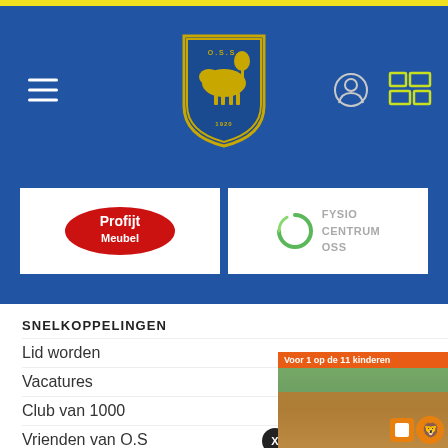[Figure (logo): OSS football club logo shield with cow and text 'O.S.S. 1920' on blue header background]
[Figure (logo): Profijt Meubel red oval logo]
[Figure (logo): Fysio Centrum OSS logo with green circle icon]
SNELKOPPELINGEN
Lid worden
Vacatures
Club van 1000
Vrienden van O.S.S./29
[Figure (photo): Children in orange KNVB shirts celebrating football, with popup banner 'Voor 1 op de 11 kinderen']
Privacy Verklarin…
Toestemming AVG